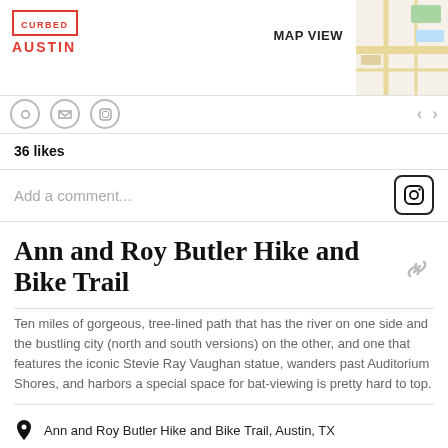CURBED AUSTIN | MAP VIEW
36 likes
Add a comment...
Ann and Roy Butler Hike and Bike Trail
Ten miles of gorgeous, tree-lined path that has the river on one side and the bustling city (north and south versions) on the other, and one that features the iconic Stevie Ray Vaughan statue, wanders past Auditorium Shores, and harbors a special space for bat-viewing is pretty hard to top.
OPEN IN GOOGLE MAPS
Ann and Roy Butler Hike and Bike Trail, Austin, TX